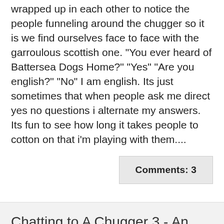wrapped up in each other to notice the people funneling around the chugger so it is we find ourselves face to face with the garroulous scottish one. "You ever heard of Battersea Dogs Home?" "Yes" "Are you english?" "No" I am english. Its just sometimes that when people ask me direct yes no questions i alternate my answers. Its fun to see how long it takes people to cotton on that i'm playing with them....
Comments: 3
Chatting to A Chugger 3 - An Occasional Series
21 February 2012
Blog